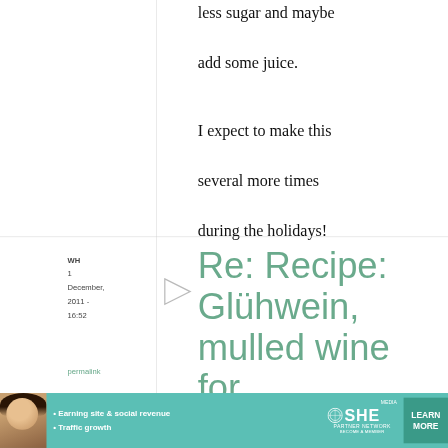less sugar and maybe add some juice.
I expect to make this several more times during the holidays!
WH
1 December, 2011 - 16:52
permalink
Re: Recipe: Glühwein, mulled wine for
[Figure (other): Advertisement banner for SHE Partner Network featuring a woman photo, bullet points about earning site & social revenue and traffic growth, SHE logo, and Learn More button]